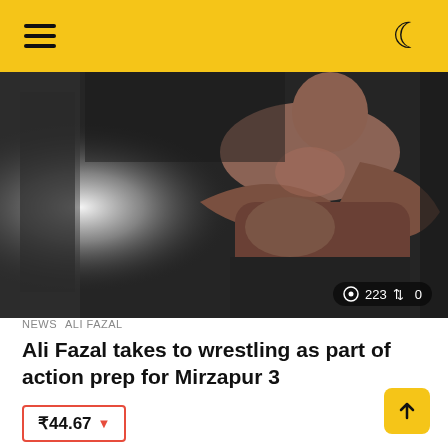Navigation bar with hamburger menu and dark mode icon
[Figure (photo): Muscular shirtless man in a dark room, appearing to be in a wrestling or martial arts pose, with a bright light on the left side. Stats overlay showing 223 views and 0 shares.]
NEWS  ALI FAZAL
Ali Fazal takes to wrestling as part of action prep for Mirzapur 3
₹44.67 ▼
by Devika Tarasinghani